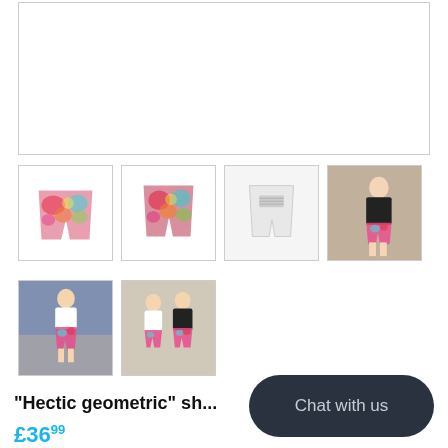[Figure (photo): Main product image area - large white/empty product display box for hectic geometric shorts]
[Figure (photo): Thumbnail 1: colorful floral/geometric shorts front view, bright pink and teal pattern]
[Figure (photo): Thumbnail 2: colorful floral/geometric shorts front view slightly different angle]
[Figure (photo): Thumbnail 3: white background product shot with label tag visible]
[Figure (photo): Thumbnail 4: man wearing black t-shirt and hectic geometric shorts on street]
[Figure (photo): Thumbnail 5: woman wearing white top and hectic geometric shorts on street]
[Figure (photo): Thumbnail 6: two people posing together wearing hectic geometric shorts]
"Hectic geometric" sh...
£36.99
Chat with us